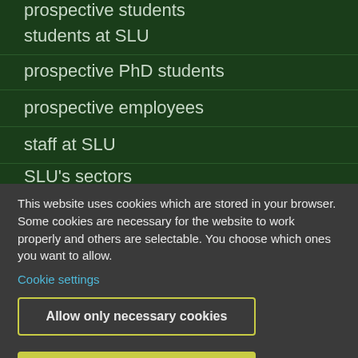prospective students
students at SLU
prospective PhD students
prospective employees
staff at SLU
SLU's sectors
alumni
This website uses cookies which are stored in your browser. Some cookies are necessary for the website to work properly and others are selectable. You choose which ones you want to allow.
Cookie settings
Allow only necessary cookies
Allow all cookies